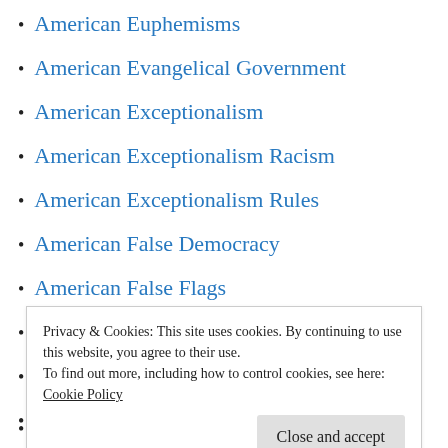American Euphemisms
American Evangelical Government
American Exceptionalism
American Exceptionalism Racism
American Exceptionalism Rules
American False Democracy
American False Flags
American Fascism
American Fast Food
American Flag Fetish
American Foreign Policy (partial, cut off)
Privacy & Cookies: This site uses cookies. By continuing to use this website, you agree to their use.
To find out more, including how to control cookies, see here:
Cookie Policy
Close and accept
American Human Decency